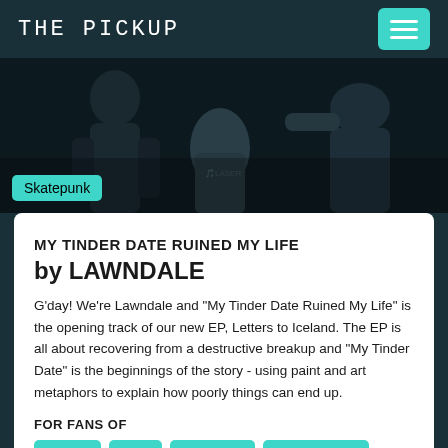THE PICKUP
[Figure (photo): Dark concert photo showing people/band members in low lighting with a 'Skatepunk' tag badge in bottom left corner]
MY TINDER DATE RUINED MY LIFE by LAWNDALE
G'day! We're Lawndale and "My Tinder Date Ruined My Life" is the opening track of our new EP, Letters to Iceland. The EP is all about recovering from a destructive breakup and "My Tinder Date" is the beginnings of the story - using paint and art metaphors to explain how poorly things can end up.
FOR FANS OF
bodyjar
roam
millencolin
State Champs